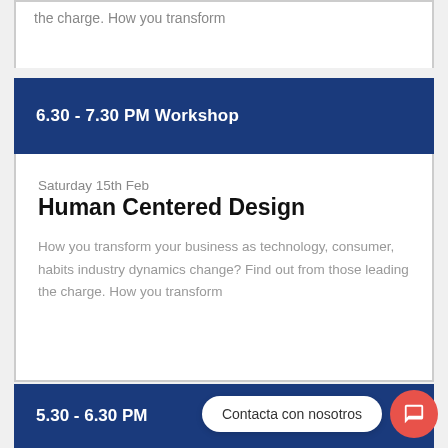the charge. How you transform
6.30 - 7.30 PM Workshop
Saturday 15th Feb
Human Centered Design
How you transform your business as technology, consumer, habits industry dynamics change? Find out from those leading the charge. How you transform
5.30 - 6.30 PM
Contacta con nosotros